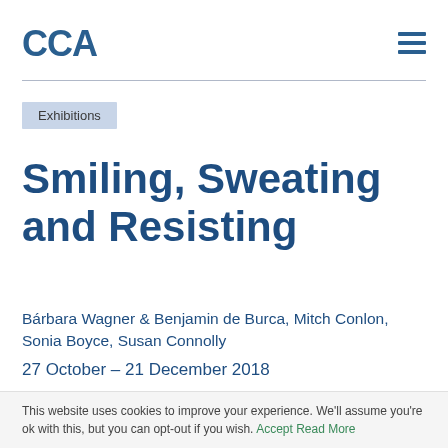CCA
Exhibitions
Smiling, Sweating and Resisting
Bárbara Wagner & Benjamin de Burca, Mitch Conlon, Sonia Boyce, Susan Connolly
27 October – 21 December 2018
This website uses cookies to improve your experience. We'll assume you're ok with this, but you can opt-out if you wish. Accept Read More